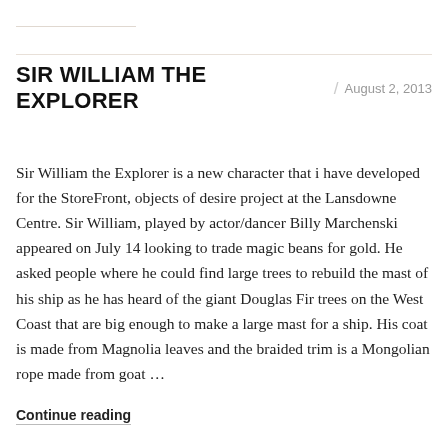SIR WILLIAM THE EXPLORER
August 2, 2013
Sir William the Explorer is a new character that i have developed for the StoreFront, objects of desire project at the Lansdowne Centre. Sir William, played by actor/dancer Billy Marchenski appeared on July 14 looking to trade magic beans for gold. He asked people where he could find large trees to rebuild the mast of his ship as he has heard of the giant Douglas Fir trees on the West Coast that are big enough to make a large mast for a ship. His coat is made from Magnolia leaves and the braided trim is a Mongolian rope made from goat …
Continue reading